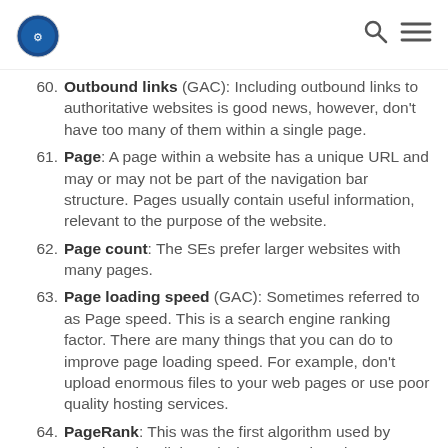[logo] [search icon] [menu icon]
60. Outbound links (GAC): Including outbound links to authoritative websites is good news, however, don't have too many of them within a single page.
61. Page: A page within a website has a unique URL and may or may not be part of the navigation bar structure. Pages usually contain useful information, relevant to the purpose of the website.
62. Page count: The SEs prefer larger websites with many pages.
63. Page loading speed (GAC): Sometimes referred to as Page speed. This is a search engine ranking factor. There are many things that you can do to improve page loading speed. For example, don't upload enormous files to your web pages or use poor quality hosting services.
64. PageRank: This was the first algorithm used by Google. It is a link analysis system that gives a 0 – 10 score. It